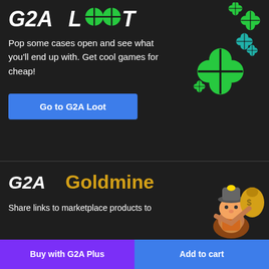[Figure (logo): G2A Loot logo with white stylized text on dark background]
[Figure (illustration): Green four-leaf clover icons scattered in the upper right area]
Pop some cases open and see what you'll end up with. Get cool games for cheap!
Go to G2A Loot
[Figure (logo): G2A Goldmine logo — G2A in white italic bold, Goldmine in gold/amber color]
[Figure (illustration): Cartoon miner character holding a gold nugget bag]
Share links to marketplace products to
$ 2.63
$ 2.98
-12%
$ 2.92
$ 2.98
-2%
Buy with G2A Plus
Add to cart